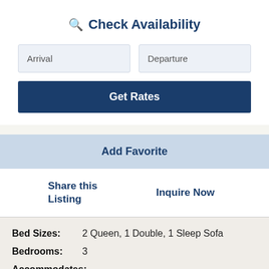Check Availability
Arrival
Departure
Get Rates
Add Favorite
Share this Listing
Inquire Now
Bed Sizes: 2 Queen, 1 Double, 1 Sleep Sofa
Bedrooms: 3
Accommodates: